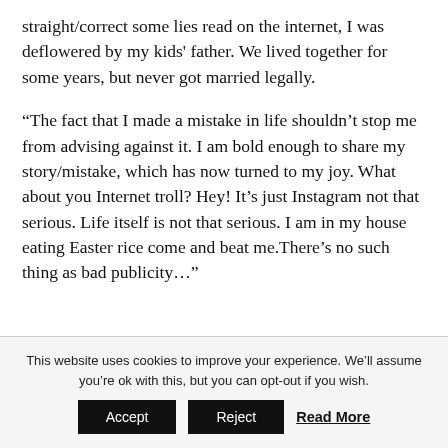straight/correct some lies read on the internet, I was deflowered by my kids' father. We lived together for some years, but never got married legally.
“The fact that I made a mistake in life shouldn’t stop me from advising against it. I am bold enough to share my story/mistake, which has now turned to my joy. What about you Internet troll? Hey! It’s just Instagram not that serious. Life itself is not that serious. I am in my house eating Easter rice come and beat me.There’s no such thing as bad publicity…”
This website uses cookies to improve your experience. We’ll assume you’re ok with this, but you can opt-out if you wish.
Accept   Reject   Read More